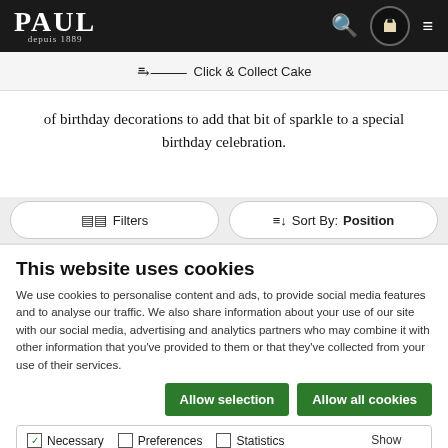PAUL depuis 1889
Click & Collect Cake
of birthday decorations to add that bit of sparkle to a special birthday celebration.
Filters   Sort By: Position
This website uses cookies
We use cookies to personalise content and ads, to provide social media features and to analyse our traffic. We also share information about your use of our site with our social media, advertising and analytics partners who may combine it with other information that you've provided to them or that they've collected from your use of their services.
Allow selection   Allow all cookies
Necessary  Preferences  Statistics  Marketing  Show details